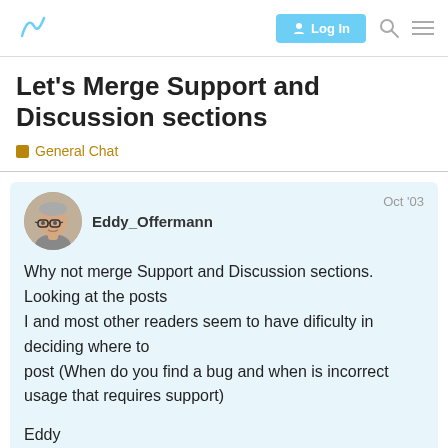Log In
Let's Merge Support and Discussion sections
General Chat
Eddy_Offermann
Oct '03
Why not merge Support and Discussion sections. Looking at the posts
I and most other readers seem to have dificulty in deciding where to
post (When do you find a bug and when is incorrect usage that requires support)

Eddy
1 / 6